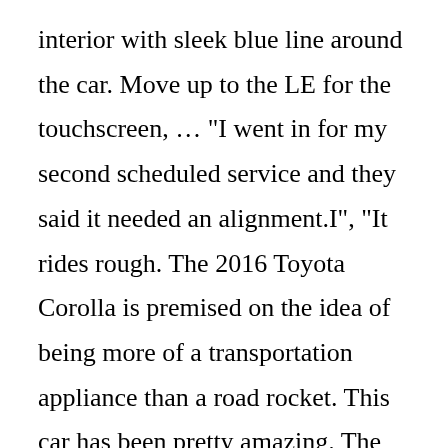interior with sleek blue line around the car. Move up to the LE for the touchscreen, … "I went in for my second scheduled service and they said it needed an alignment.I", "It rides rough. The 2016 Toyota Corolla is premised on the idea of being more of a transportation appliance than a road rocket. This car has been pretty amazing. The engine works well and I can not really complain as of now. Leak was at connecting fitting between refrigerant hose and pipe .". View pictures, specs, and